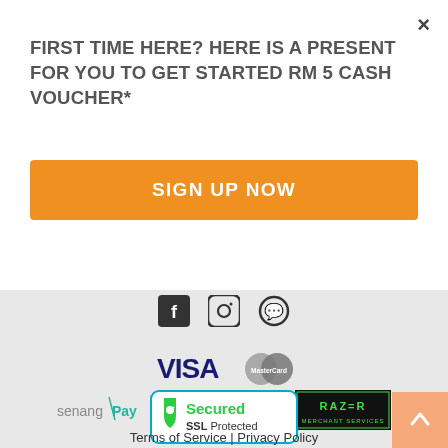FIRST TIME HERE? HERE IS A PRESENT FOR YOU TO GET STARTED RM 5 CASH VOUCHER*
SIGN UP NOW
[Figure (logo): Social media icons: Facebook, Instagram, WhatsApp]
[Figure (logo): Payment logos: VISA and MasterCard]
[Figure (logo): Payment provider logos: senangPay, favePAY, Razer Merchant Services]
[Figure (logo): Secured SSL Protected badge with green shield icon]
Terms of Service | Privacy Policy